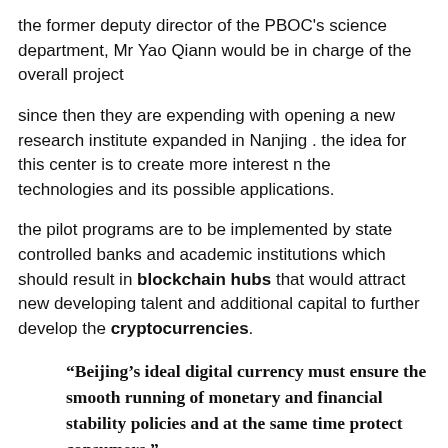the former deputy director of the PBOC's science department, Mr Yao Qiann would be in charge of the overall project
since then they are expending with opening a new research institute expanded in Nanjing . the idea for this center is to create more interest n the technologies and its possible applications.
the pilot programs are to be implemented by state controlled banks and academic institutions which should result in blockchain hubs that would attract new developing talent and additional capital to further develop the cryptocurrencies.
“Beijing’s ideal digital currency must ensure the smooth running of monetary and financial stability policies and at the same time protect consumers.”
Apparently, the ultimate goal for the Digital Currency Research Institute (DCRI) was to clear the path for a national cryptocurrency. Reports indicate that the fintech hubs will serve a purpose higher than initially believed. Reportedly, the hubs will serve as testing ground for China digital money.